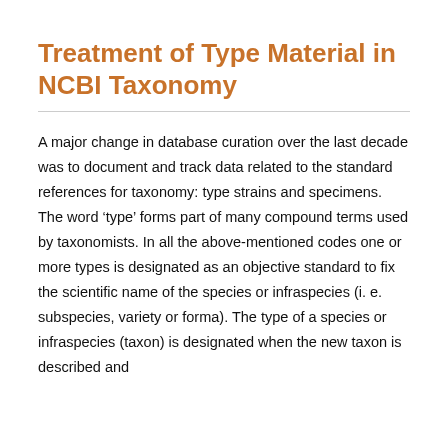Treatment of Type Material in NCBI Taxonomy
A major change in database curation over the last decade was to document and track data related to the standard references for taxonomy: type strains and specimens. The word ‘type’ forms part of many compound terms used by taxonomists. In all the above-mentioned codes one or more types is designated as an objective standard to fix the scientific name of the species or infraspecies (i. e. subspecies, variety or forma). The type of a species or infraspecies (taxon) is designated when the new taxon is described and